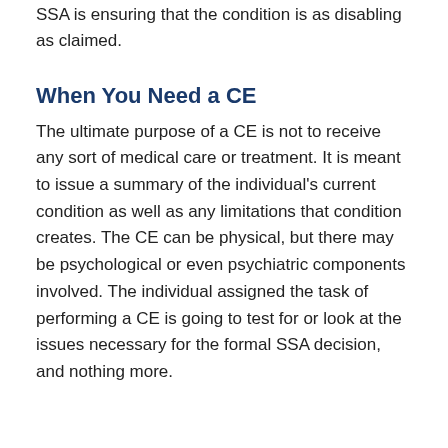SSA is ensuring that the condition is as disabling as claimed.
When You Need a CE
The ultimate purpose of a CE is not to receive any sort of medical care or treatment. It is meant to issue a summary of the individual's current condition as well as any limitations that condition creates. The CE can be physical, but there may be psychological or even psychiatric components involved. The individual assigned the task of performing a CE is going to test for or look at the issues necessary for the formal SSA decision, and nothing more.